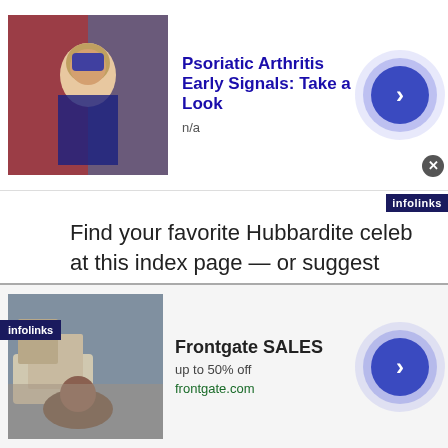[Figure (other): Advertisement banner: Psoriatic Arthritis Early Signals: Take a Look, n/a, with image of person in costume and arrow button]
Find your favorite Hubbardite celeb at this index page — or suggest someone to add to the list!
Other links: Scientology's Ideal Orgs, from one end of the planet to the other. Scientology's sneaky front groups, spreading the good news about L. Ron Hubbard while pretending to benefit society. Scientology Lit: Books reviewed or excerpted in a weekly series. How many have you
[Figure (other): Advertisement banner: Frontgate SALES, up to 50% off, frontgate.com, with outdoor furniture image and arrow button]